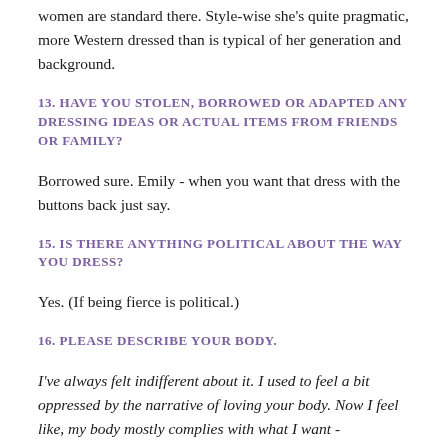women are standard there. Style-wise she's quite pragmatic, more Western dressed than is typical of her generation and background.
13. HAVE YOU STOLEN, BORROWED OR ADAPTED ANY DRESSING IDEAS OR ACTUAL ITEMS FROM FRIENDS OR FAMILY?
Borrowed sure. Emily - when you want that dress with the buttons back just say.
15. IS THERE ANYTHING POLITICAL ABOUT THE WAY YOU DRESS?
Yes. (If being fierce is political.)
16. PLEASE DESCRIBE YOUR BODY.
I've always felt indifferent about it. I used to feel a bit oppressed by the narrative of loving your body. Now I feel like, my body mostly complies with what I want -